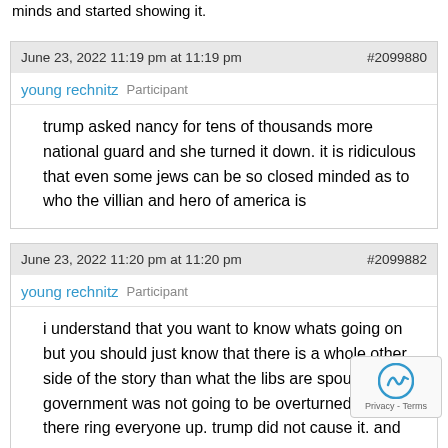minds and started showing it.
June 23, 2022 11:19 pm at 11:19 pm                                                                                      #2099880
young rechnitz   Participant
trump asked nancy for tens of thousands more national guard and she turned it down. it is ridiculous that even some jews can be so closed minded as to who the villian and hero of america is
June 23, 2022 11:20 pm at 11:20 pm                                                                                      #2099882
young rechnitz   Participant
i understand that you want to know whats going on but you should just know that there is a whole other side of the story than what the libs are spouting. our government was not going to be overturned. antifa there ring everyone up. trump did not cause it. and